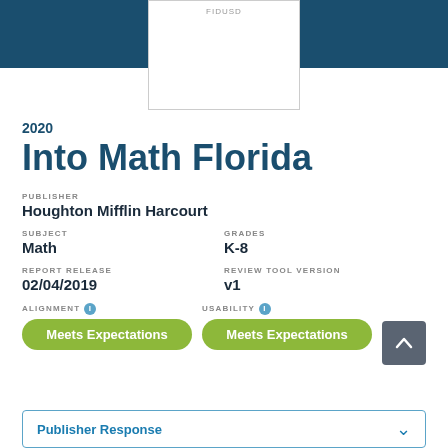[Figure (other): Dark teal header bar with centered white box containing faint publisher/product logo area]
2020
Into Math Florida
PUBLISHER
Houghton Mifflin Harcourt
SUBJECT
Math
GRADES
K-8
REPORT RELEASE
02/04/2019
REVIEW TOOL VERSION
v1
ALIGNMENT  Meets Expectations
USABILITY  Meets Expectations
Publisher Response